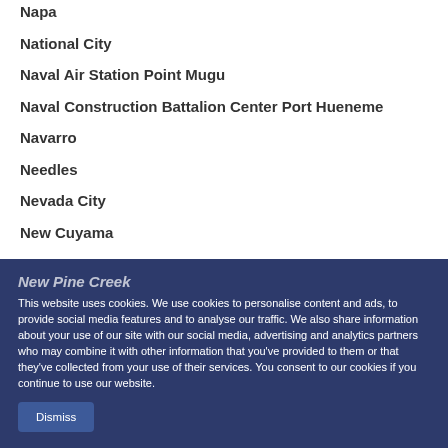Napa
National City
Naval Air Station Point Mugu
Naval Construction Battalion Center Port Hueneme
Navarro
Needles
Nevada City
New Cuyama
New Pine Creek
This website uses cookies. We use cookies to personalise content and ads, to provide social media features and to analyse our traffic. We also share information about your use of our site with our social media, advertising and analytics partners who may combine it with other information that you've provided to them or that they've collected from your use of their services. You consent to our cookies if you continue to use our website.
Dismiss